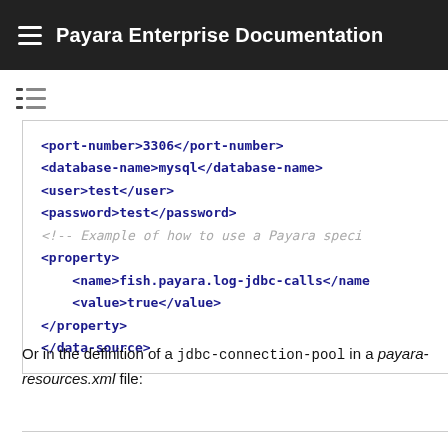Payara Enterprise Documentation
[Figure (other): Table of contents icon]
<port-number>3306</port-number>
<database-name>mysql</database-name>
<user>test</user>
<password>test</password>
<!-- Example of how to use a Payara speci -->
<property>
    <name>fish.payara.log-jdbc-calls</name
    <value>true</value>
</property>
</data-source>
Or in the definition of a jdbc-connection-pool in a payara-resources.xml file: